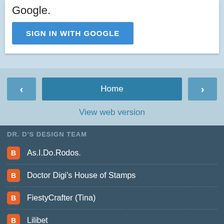Google.
SIGN IN WITH GOOGLE
Home
View web version
DR. D'S DESIGN TEAM
As.I.Do.Rodos.
Doctor Digi's House of Stamps
FiestyCrafter (Tina)
Lilibet
Tip Top
WeirdCat
Powered by Blogger.